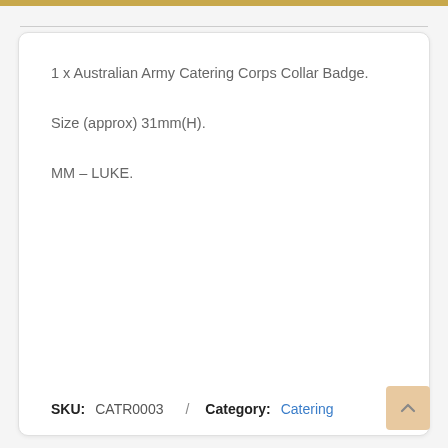1 x Australian Army Catering Corps Collar Badge.
Size (approx) 31mm(H).
MM – LUKE.
SKU: CATR0003 / Category: Catering